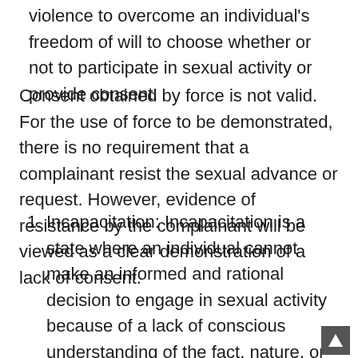violence to overcome an individual's freedom of will to choose whether or not to participate in sexual activity or provide consent.
Consent obtained by force is not valid. For the use of force to be demonstrated, there is no requirement that a complainant resist the sexual advance or request. However, evidence of resistance by the complainant will be viewed as a clear demonstration of a lack of consent.
1. Incapacitation: Incapacitation is a state where an individual cannot make an informed and rational decision to engage in sexual activity because of a lack of conscious understanding of the fact, nature, or extent of the act (e.g., to understand the who, what, when, where, why, or how of the